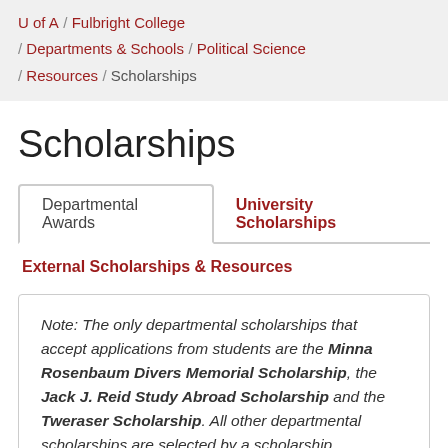U of A / Fulbright College / Departments & Schools / Political Science / Resources / Scholarships
Scholarships
Departmental Awards | University Scholarships | External Scholarships & Resources
Note: The only departmental scholarships that accept applications from students are the Minna Rosenbaum Divers Memorial Scholarship, the Jack J. Reid Study Abroad Scholarship and the Tweraser Scholarship. All other departmental scholarships are selected by a scholarship committee.  NOTE: Some awards require FAFSA completion.